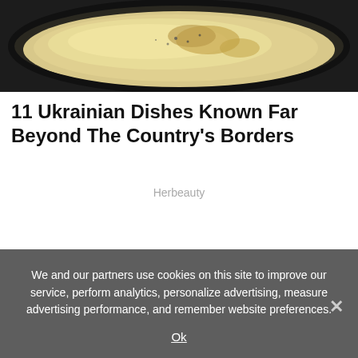[Figure (photo): Photo of a Ukrainian dish — appears to be a creamy or cheesy food item in a pan, close-up shot with dark background around the edges.]
11 Ukrainian Dishes Known Far Beyond The Country's Borders
Herbeauty
We and our partners use cookies on this site to improve our service, perform analytics, personalize advertising, measure advertising performance, and remember website preferences.
Ok